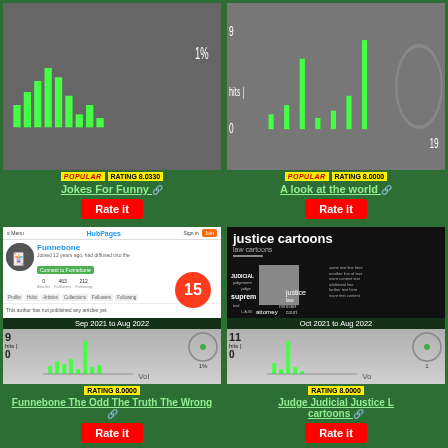[Figure (screenshot): Top-left card: partial website screenshot with bar chart. POPULAR RATING 8.0330 badge. Title: Jokes For Funny. Rate it button.]
[Figure (screenshot): Top-right card: partial website screenshot with hits chart showing 9 hits. POPULAR RATING 8.0000 badge. Title: A look at the world. Rate it button.]
[Figure (screenshot): Bottom-left card: HubPages profile screenshot for Funnebone. Number 15 circle. Sep 2021 to Aug 2022. Chart: 9 hits. RATING 8.0000. Title: Funnebone The Odd The Truth The Wrong. Rate it button.]
[Figure (screenshot): Bottom-right card: Justice cartoons website screenshot. Oct 2021 to Aug 2022. Chart: 11 hits. RATING 8.0000. Title: Judge Judicial Justice Law cartoons. Rate it button.]